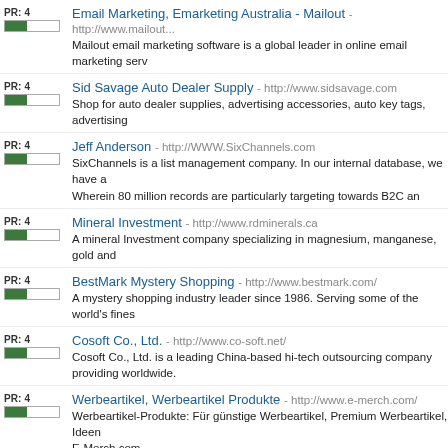Email Marketing, Emarketing Australia - Mailout - http://www.mailout... Mailout email marketing software is a global leader in online email marketing serv
Sid Savage Auto Dealer Supply - http://www.sidsavage.com Shop for auto dealer supplies, advertising accessories, auto key tags, advertising
Jeff Anderson - http://WWW.SixChannels.com SixChannels is a list management company. In our internal database, we have a Wherein 80 million records are particularly targeting towards B2C an
Mineral Investment - http://www.rdminerals.ca A mineral Investment company specializing in magnesium, manganese, gold and
BestMark Mystery Shopping - http://www.bestmark.com/ A mystery shopping industry leader since 1986. Serving some of the world's fines
Cosoft Co., Ltd. - http://www.co-soft.net/ Cosoft Co., Ltd. is a leading China-based hi-tech outsourcing company providing worldwide.
Werbeartikel, Werbeartikel Produkte - http://www.e-merch.com/ Werbeartikel-Produkte: Für günstige Werbeartikel, Premium Werbeartikel, Ideen E-Merch.com
Sell Car - http://www.ukcarads.co.uk Sell a car free online on over 230 UK classified websites. Over 500,000 used car
Defensive Driving Schools - http://www.4trafficschoolbyimprov.com